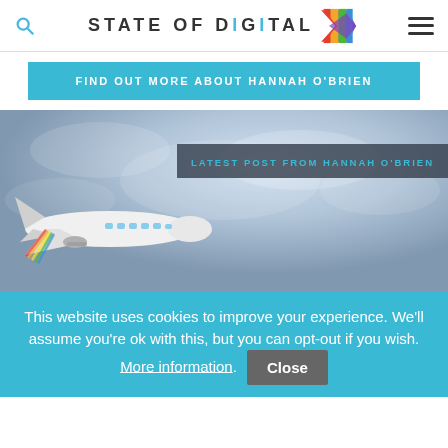STATE OF DIGITAL
FIND OUT MORE ABOUT HANNAH O'BRIEN
[Figure (photo): Airplane taking off against a cloudy sky background, with a dark overlay badge reading 'LATEST POST FROM HANNAH O'BRIEN']
This website uses cookies to improve your experience. We'll assume you're ok with this, but you can opt-out if you wish. More information. Close